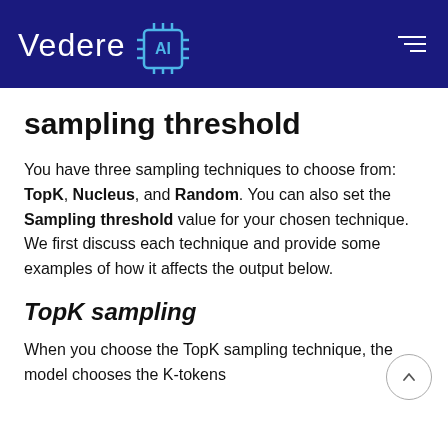Vedere AI
sampling threshold
You have three sampling techniques to choose from: TopK, Nucleus, and Random. You can also set the Sampling threshold value for your chosen technique. We first discuss each technique and provide some examples of how it affects the output below.
TopK sampling
When you choose the TopK sampling technique, the model chooses the K-tokens